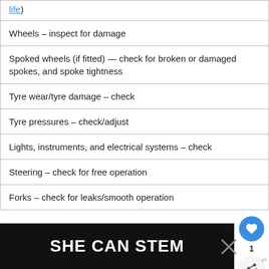| life) |
| Wheels – inspect for damage |
| Spoked wheels (if fitted) — check for broken or damaged spokes, and spoke tightness |
| Tyre wear/tyre damage – check |
| Tyre pressures – check/adjust |
| Lights, instruments, and electrical systems – check |
| Steering – check for free operation |
| Forks – check for leaks/smooth operation |
[Figure (screenshot): SHE CAN STEM advertisement banner at the bottom of the page]